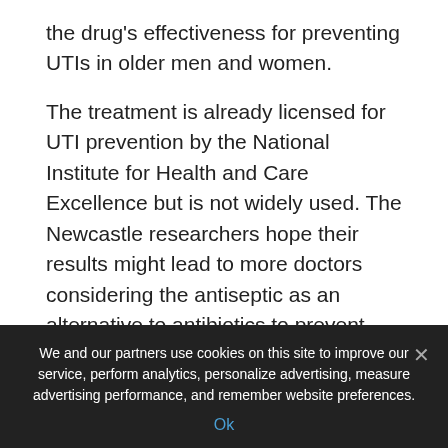the drug's effectiveness for preventing UTIs in older men and women.
The treatment is already licensed for UTI prevention by the National Institute for Health and Care Excellence but is not widely used. The Newcastle researchers hope their results might lead to more doctors considering the antiseptic as an alternative to antibiotics to prevent recurrent UTIs in women.
The drug can however bring side-effects including nausea and vomiting. Commenting on the study, Sachin Malde, a consultant urological surgeon at London's
We and our partners use cookies on this site to improve our service, perform analytics, personalize advertising, measure advertising performance, and remember website preferences.